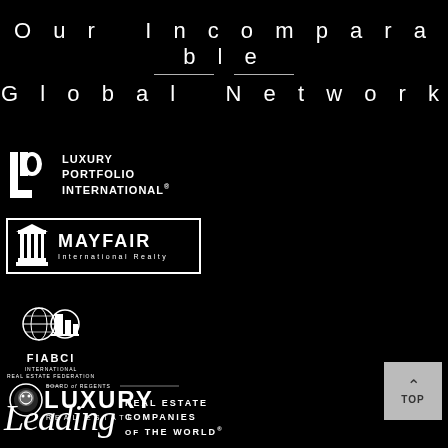Our Incomparable Global Network
[Figure (logo): Luxury Portfolio International logo — LP lettermark with text LUXURY PORTFOLIO INTERNATIONAL]
[Figure (logo): Mayfair International Realty logo — bordered box with column icon and MAYFAIR International Realty text]
[Figure (logo): FIABCI International Real Estate Federation logo — globe and buildings emblem]
[Figure (logo): Board of Regents Luxury Real Estate logo — lion head with LUXURY REAL ESTATE text]
[Figure (logo): Leading Real Estate Companies of the World logo — script Leading with REAL ESTATE COMPANIES OF THE WORLD text]